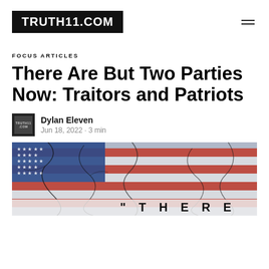TRUTH11.COM
FOCUS ARTICLES
There Are But Two Parties Now: Traitors and Patriots
Dylan Eleven
Jun 18, 2022 · 3 min
[Figure (photo): Cracked American flag image with the word THERE partially visible at the bottom]